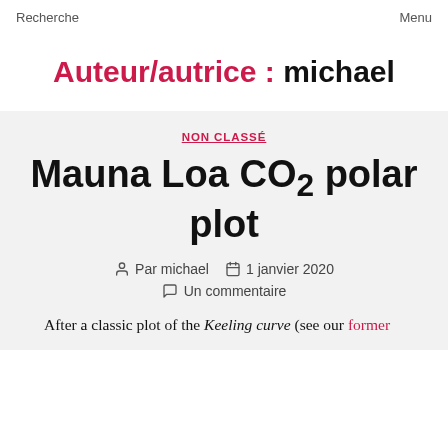Recherche    Menu
Auteur/autrice : michael
NON CLASSÉ
Mauna Loa CO₂ polar plot
Par michael  1 janvier 2020  Un commentaire
After a classic plot of the Keeling curve (see our former